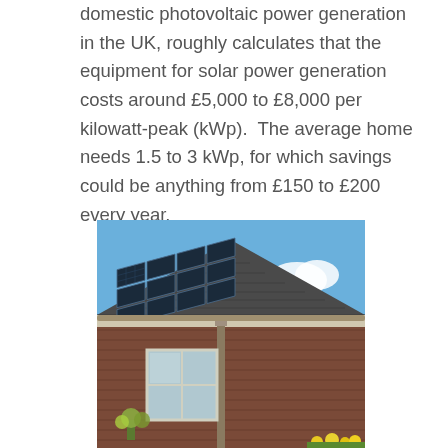domestic photovoltaic power generation in the UK, roughly calculates that the equipment for solar power generation costs around £5,000 to £8,000 per kilowatt-peak (kWp).  The average home needs 1.5 to 3 kWp, for which savings could be anything from £150 to £200 every year.
[Figure (photo): Photograph of a residential house with solar panels mounted on a dark tiled roof. The sky is bright blue with a small cloud visible. The house has brick walls, a white-framed window, a drainpipe, and flowers/plants near the entrance.]